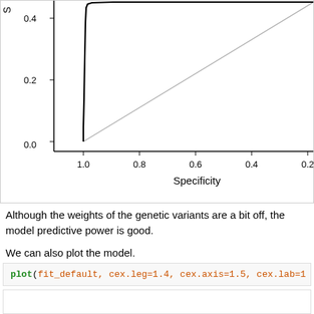[Figure (continuous-plot): ROC curve (partial view, top-left cropped): y-axis shows Sensitivity values 0.0, 0.2, 0.4 (clipped at top); x-axis shows Specificity values 1.0, 0.8, 0.6, 0.4, 0.2. A bold black ROC curve rises sharply near x=1.0, and a gray diagonal reference line runs from bottom-left to top-right.]
Although the weights of the genetic variants are a bit off, the model predictive power is good.
We can also plot the model.
plot(fit_default, cex.leg=1.4, cex.axis=1.5, cex.lab=1